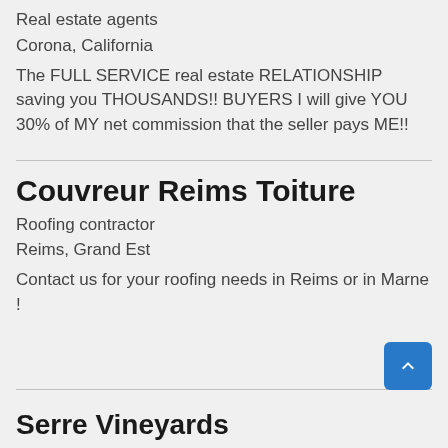Real estate agents
Corona, California
The FULL SERVICE real estate RELATIONSHIP saving you THOUSANDS!! BUYERS I will give YOU 30% of MY net commission that the seller pays ME!!
Couvreur Reims Toiture
Roofing contractor
Reims, Grand Est
Contact us for your roofing needs in Reims or in Marne !
Serre Vineyards